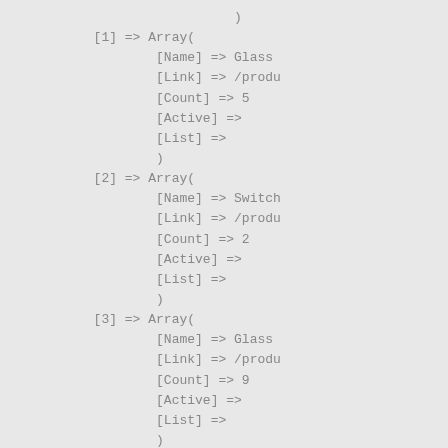)
[1] => Array(
    [Name] => Glass
    [Link] => /produ
    [Count] => 5
    [Active] =>
    [List] =>
    )
[2] => Array(
    [Name] => Switch
    [Link] => /produ
    [Count] => 2
    [Active] =>
    [List] =>
    )
[3] => Array(
    [Name] => Glass
    [Link] => /produ
    [Count] => 9
    [Active] =>
    [List] =>
    )
)